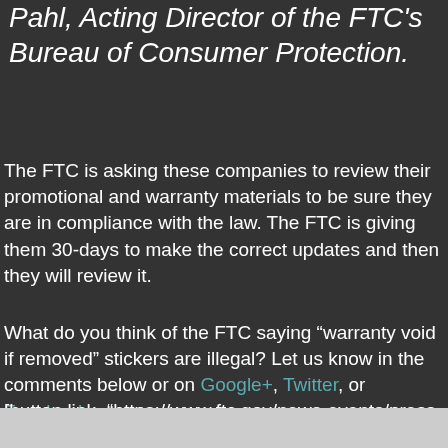Pahl, Acting Director of the FTC's Bureau of Consumer Protection.
The FTC is asking these companies to review their promotional and warranty materials to be sure they are in compliance with the law. The FTC is giving them 30-days to make the correct updates and then they will review it.
What do you think of the FTC saying “warranty void if removed” stickers are illegal? Let us know in the comments below or on Google+, Twitter, or Facebook.
[button link="https://www.ftc.gov/news-events/press-